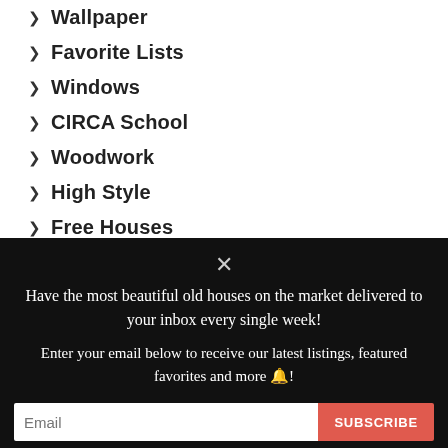> Wallpaper
> Favorite Lists
> Windows
> CIRCA School
> Woodwork
> High Style
> Free Houses
Have the most beautiful old houses on the market delivered to your inbox every single week!
Enter your email below to receive our latest listings, featured favorites and more 🔔!